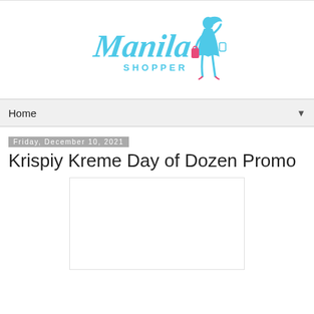[Figure (logo): Manila Shopper blog logo with cursive script and blue female silhouette holding shopping bags]
Home ▼
Friday, December 10, 2021
Krispiy Kreme Day of Dozen Promo
[Figure (photo): White/blank image placeholder for article photo]